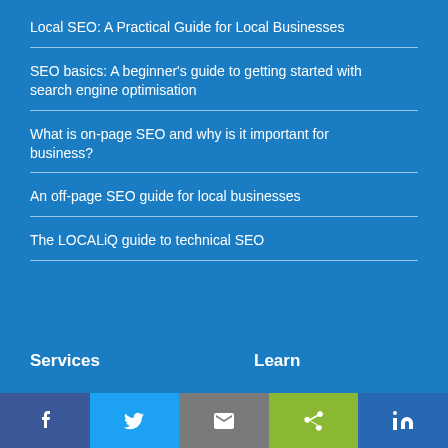Local SEO: A Practical Guide for Local Businesses
SEO basics: A beginner's guide to getting started with search engine optimisation
What is on-page SEO and why is it important for business?
An off-page SEO guide for local businesses
The LOCALiQ guide to technical SEO
Services
Learn